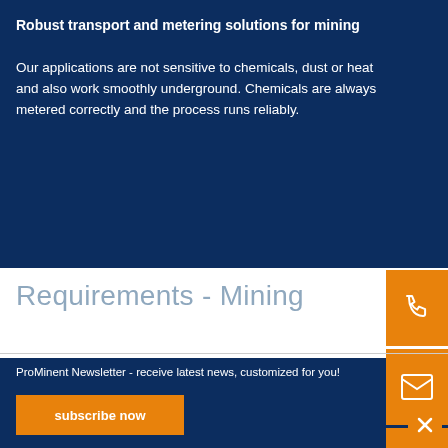Robust transport and metering solutions for mining
Our applications are not sensitive to chemicals, dust or heat and also work smoothly underground. Chemicals are always metered correctly and the process runs reliably.
[Figure (infographic): Three orange sidebar icon buttons: phone, email, and document/briefcase icons on orange rectangular backgrounds]
Requirements - Mining
ProMinent Newsletter - receive latest news, customized for you!
subscribe now
[Figure (infographic): Orange close/X button in bottom right corner]